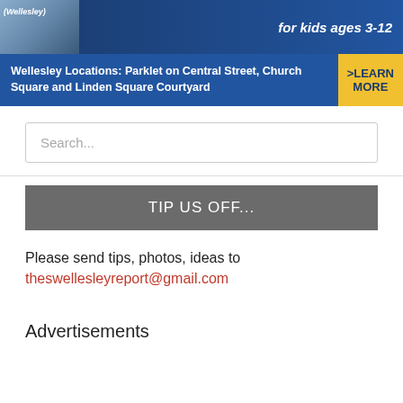[Figure (photo): Advertisement banner showing children photo on left and text 'for kids ages 3-12' on right with blue background]
[Figure (infographic): Blue bar with text: Wellesley Locations: Parklet on Central Street, Church Square and Linden Square Courtyard, with yellow >LEARN MORE button on right]
Search...
TIP US OFF...
Please send tips, photos, ideas to
theswellesleyreport@gmail.com
Advertisements